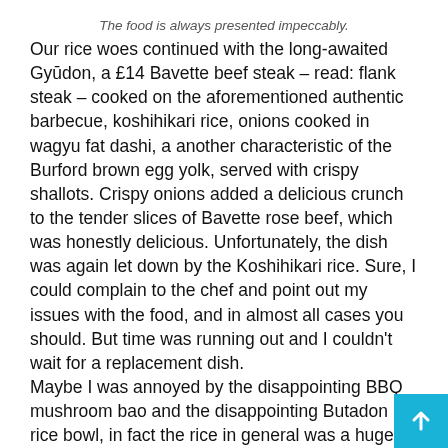The food is always presented impeccably.
Our rice woes continued with the long-awaited Gyūdon, a £14 Bavette beef steak – read: flank steak – cooked on the aforementioned authentic barbecue, koshihikari rice, onions cooked in wagyu fat dashi, a another characteristic of the Burford brown egg yolk, served with crispy shallots. Crispy onions added a delicious crunch to the tender slices of Bavette rose beef, which was honestly delicious. Unfortunately, the dish was again let down by the Koshihikari rice. Sure, I could complain to the chef and point out my issues with the food, and in almost all cases you should. But time was running out and I couldn't wait for a replacement dish.
Maybe I was annoyed by the disappointing BBQ mushroom bao and the disappointing Butadon rice bowl, in fact the rice in general was a huge disappointment, but I just couldn't avoid the nagging feeling that it was so better when I had tried the fo here before. Of the main dishes, the Gyūdon was the best only